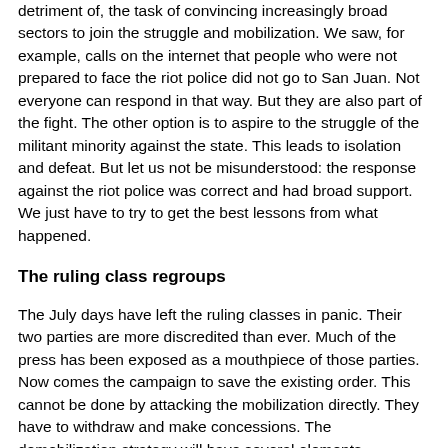detriment of, the task of convincing increasingly broad sectors to join the struggle and mobilization. We saw, for example, calls on the internet that people who were not prepared to face the riot police did not go to San Juan. Not everyone can respond in that way. But they are also part of the fight. The other option is to aspire to the struggle of the militant minority against the state. This leads to isolation and defeat. But let us not be misunderstood: the response against the riot police was correct and had broad support. We just have to try to get the best lessons from what happened.
The ruling class regroups
The July days have left the ruling classes in panic. Their two parties are more discredited than ever. Much of the press has been exposed as a mouthpiece of those parties. Now comes the campaign to save the existing order. This cannot be done by attacking the mobilization directly. They have to withdraw and make concessions. The demobilization strategy will have several elements.
First it will be recognized that the struggle was justified. It will be recognized that reforms are needed. But everything will be limited to suggesting that adjustments must be made to the political system, to the electoral provisions and so on. We will